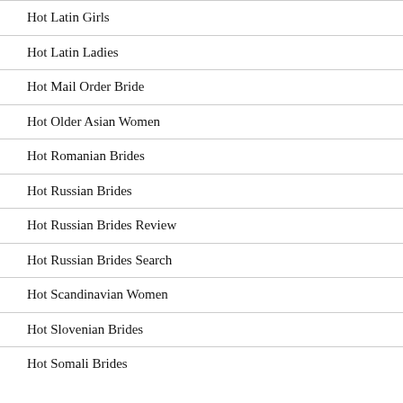Hot Latin Girls
Hot Latin Ladies
Hot Mail Order Bride
Hot Older Asian Women
Hot Romanian Brides
Hot Russian Brides
Hot Russian Brides Review
Hot Russian Brides Search
Hot Scandinavian Women
Hot Slovenian Brides
Hot Somali Brides